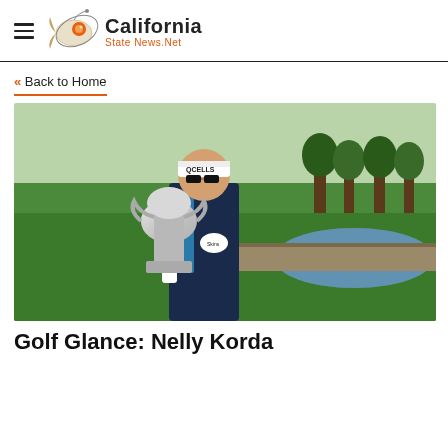California State News.Net
« Back to Home
[Figure (photo): Nelly Korda holding a large silver golf trophy (PGA Championship style), wearing a Q CELLS visor and dark jacket, standing in front of a golf course with a water feature in the background.]
Golf Glance: Nelly Korda